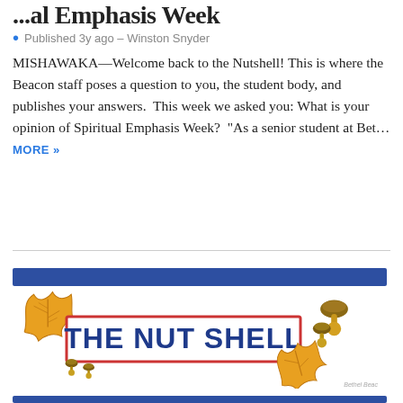...al Emphasis Week
Published 3y ago – Winston Snyder
MISHAWAKA—Welcome back to the Nutshell! This is where the Beacon staff poses a question to you, the student body, and publishes your answers.  This week we asked you: What is your opinion of Spiritual Emphasis Week?  "As a senior student at Bet... MORE »
[Figure (illustration): The Nut Shell logo with autumn oak leaves and acorns on a white background. A red-bordered rectangle contains the text 'THE NUT SHELL' in bold blue letters. Decorative fall leaves and acorns surround the banner.]